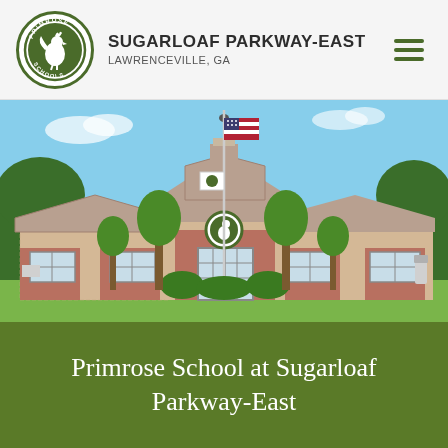SUGARLOAF PARKWAY-EAST
LAWRENCEVILLE, GA
[Figure (photo): Exterior photo of Primrose School at Sugarloaf Parkway-East — a single-story brick building with a peaked roof, flagpole with American flag, Primrose Schools logo medallion above the entrance, green shrubs and trees flanking the entrance, under a clear blue sky.]
Primrose School at Sugarloaf Parkway-East